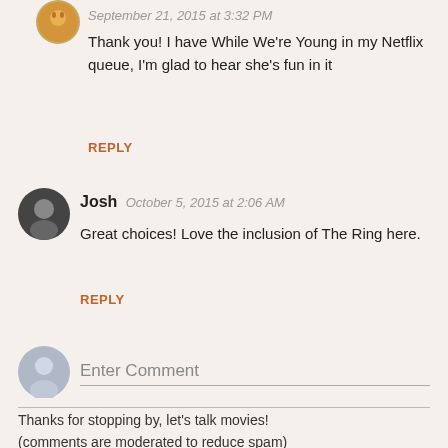September 21, 2015 at 3:32 PM
Thank you! I have While We're Young in my Netflix queue, I'm glad to hear she's fun in it
REPLY
Josh  October 5, 2015 at 2:06 AM
Great choices! Love the inclusion of The Ring here.
REPLY
Enter Comment
Thanks for stopping by, let's talk movies!
(comments are moderated to reduce spam)